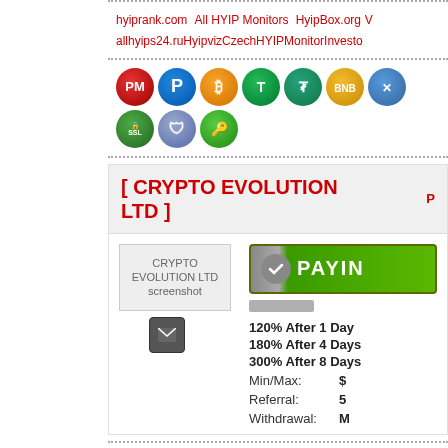hyiprank.com All HYIP Monitors HyipBox.org allhyips24.ruHyipvizCzechHYIPMonitorInvesto
[Figure (infographic): Payment method icons: PerfectMoney (red PM), Payeer (blue P), Bitcoin (gold BTC), TRC20 (green T), Tether (green Tether), Binance (yellow BNB), Ripple (blue XRP), SSL badge (green), Shield (blue), Key (green)]
[ CRYPTO EVOLUTION LTD ]
[Figure (screenshot): CRYPTO EVOLUTION LTD screenshot with email button]
[Figure (infographic): PAYING status button (green) with checkmark]
120% After 1 Day
180% After 4 Days
300% After 8 Days
Min/Max: $
Referral: 5
Withdrawal: M
hyiprank.com All HYIP Monitors HyipBox.org allhyips24.ruHyipvizCzechHYIPMonitorInvesto